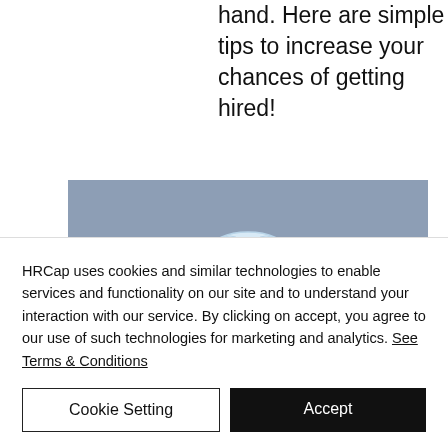hand. Here are simple tips to increase your chances of getting hired!
[Figure (illustration): A sleep mask illustration on a muted blue-grey rectangular background banner]
HRCap uses cookies and similar technologies to enable services and functionality on our site and to understand your interaction with our service. By clicking on accept, you agree to our use of such technologies for marketing and analytics. See Terms & Conditions
Cookie Setting
Accept